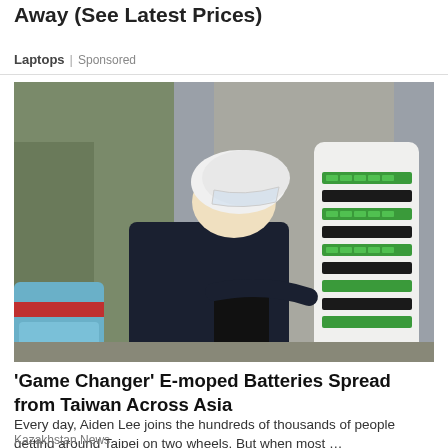Away (See Latest Prices)
Laptops | Sponsored
[Figure (photo): Person wearing a white helmet and dark hoodie swapping or removing a battery from a green-and-white battery swap station for electric mopeds, with a light blue e-scooter visible on the left.]
'Game Changer' E-moped Batteries Spread from Taiwan Across Asia
Every day, Aiden Lee joins the hundreds of thousands of people getting around Taipei on two wheels. But when most …
Kazakhstan News